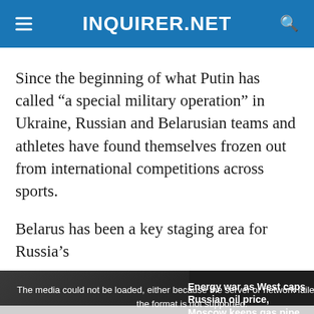INQUIRER.NET
Since the beginning of what Putin has called “a special military operation” in Ukraine, Russian and Belarusian teams and athletes have found themselves frozen out from international competitions across sports.
Belarus has been a key staging area for Russia’s
[Figure (screenshot): Embedded video player showing error message: The media could not be loaded, either because the server or network failed or because the format is not supported. Video headline: Energy war as West caps Russian oil price, Moscow keeps gas pipe shut. Close button (X) at bottom. Orange chat button at bottom right.]